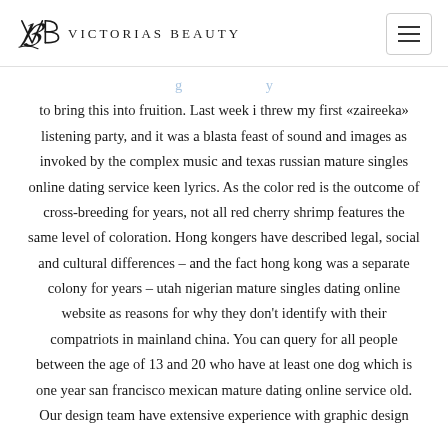Victorias Beauty
to bring this into fruition. Last week i threw my first «zaireeka» listening party, and it was a blasta feast of sound and images as invoked by the complex music and texas russian mature singles online dating service keen lyrics. As the color red is the outcome of cross-breeding for years, not all red cherry shrimp features the same level of coloration. Hong kongers have described legal, social and cultural differences – and the fact hong kong was a separate colony for years – utah nigerian mature singles dating online website as reasons for why they don't identify with their compatriots in mainland china. You can query for all people between the age of 13 and 20 who have at least one dog which is one year san francisco mexican mature dating online service old. Our design team have extensive experience with graphic design